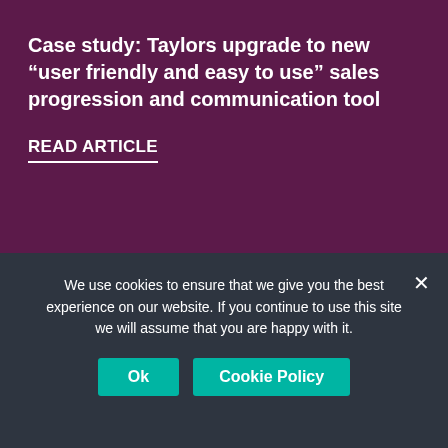Case study: Taylors upgrade to new “user friendly and easy to use” sales progression and communication tool
READ ARTICLE
Blog
We use cookies to ensure that we give you the best experience on our website. If you continue to use this site we will assume that you are happy with it.